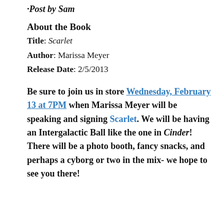·Post by Sam
About the Book
Title: Scarlet
Author: Marissa Meyer
Release Date: 2/5/2013
Be sure to join us in store Wednesday, February 13 at 7PM when Marissa Meyer will be speaking and signing Scarlet. We will be having an Intergalactic Ball like the one in Cinder! There will be a photo booth, fancy snacks, and perhaps a cyborg or two in the mix- we hope to see you there!